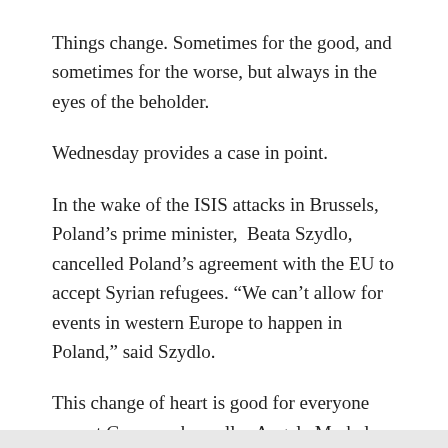Things change. Sometimes for the good, and sometimes for the worse, but always in the eyes of the beholder.
Wednesday provides a case in point.
In the wake of the ISIS attacks in Brussels, Poland’s prime minister,  Beata Szydlo, cancelled Poland’s agreement with the EU to accept Syrian refugees. “We can’t allow for events in western Europe to happen in Poland,” said Szydlo.
This change of heart is good for everyone except German chancellor Angela Merkel.
Bloomberg reports Poland Abandons Pledge to Shelter Refugees After Brussels Blasts.